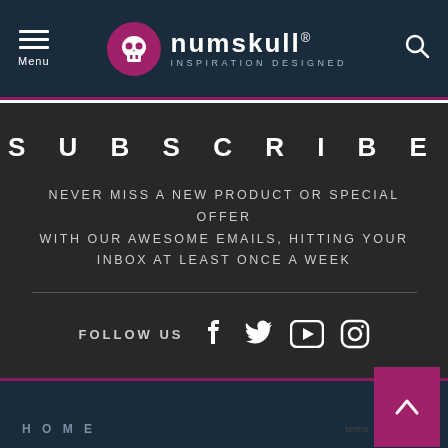[Figure (logo): Numskull logo with skull icon in magenta circle and text 'numskull® INSPIRATION DESIGNED' on dark navy background header with hamburger menu and search icon]
SUBSCRIBE
NEVER MISS A NEW PRODUCT OR SPECIAL OFFER WITH OUR AWESOME EMAILS, HITTING YOUR INBOX AT LEAST ONCE A WEEK
FOLLOW US
HOME